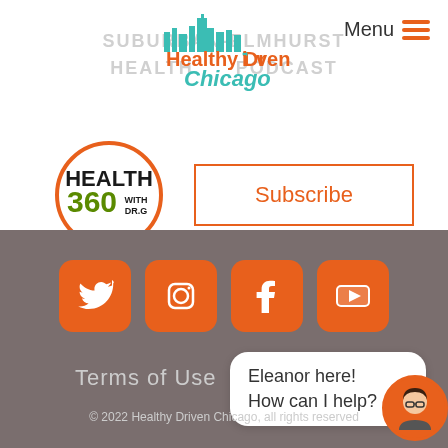[Figure (logo): Healthy Driven Chicago logo with teal city skyline silhouette and orange/green text]
SUBURBAN-ELMHURST HEALTH PODCAST
Menu
[Figure (logo): Health 360 with Dr. G - A Healthy Driven Podcast logo with orange circular design]
Subscribe
[Figure (infographic): Social media icons: Twitter, Instagram, Facebook, YouTube - orange rounded square buttons with white icons]
Terms of Use
Eleanor here! How can I help?
© 2022 Healthy Driven Chicago, all rights reserved